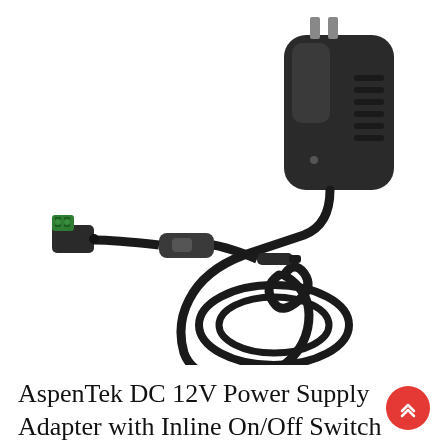[Figure (photo): Product photo of an AspenTek DC 12V power supply adapter with inline on/off switch. The image shows a black wall plug adapter (US plug), a DC barrel connector cable with an inline toggle switch, and a small green terminal block connector adapter. All components are against a white background.]
AspenTek DC 12V Power Supply Adapter with Inline On/Off Switch f...